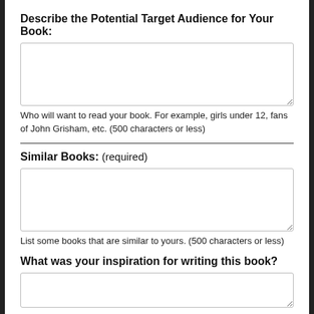Describe the Potential Target Audience for Your Book:
[Figure (other): Empty textarea input field for target audience]
Who will want to read your book. For example, girls under 12, fans of John Grisham, etc. (500 characters or less)
Similar Books: (required)
[Figure (other): Empty textarea input field for similar books]
List some books that are similar to yours. (500 characters or less)
What was your inspiration for writing this book?
[Figure (other): Empty textarea input field for inspiration]